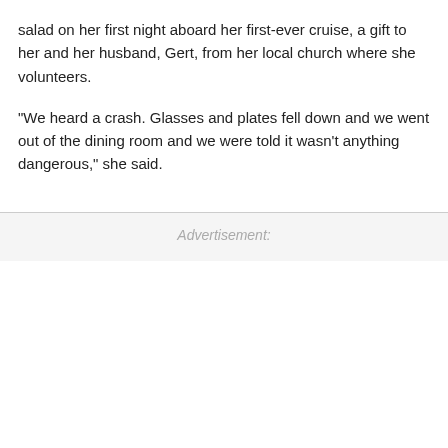salad on her first night aboard her first-ever cruise, a gift to her and her husband, Gert, from her local church where she volunteers.
"We heard a crash. Glasses and plates fell down and we went out of the dining room and we were told it wasn't anything dangerous," she said.
Advertisement: